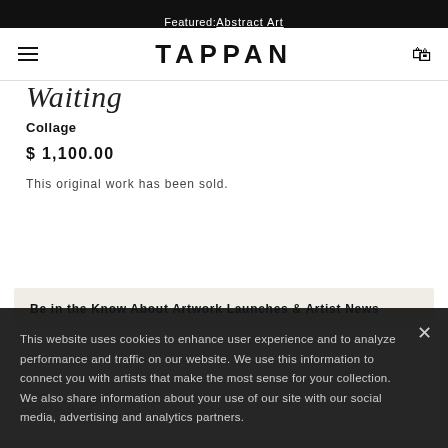Featured: Abstract Art
TAPPAN
Waiting
Collage
$ 1,100.00
This original work has been sold.
Be in the Know About Artwork Launches & Artist News
This website uses cookies to enhance user experience and to analyze performance and traffic on our website. We use this information to connect you with artists that make the most sense for your collection. We also share information about your use of our site with our social media, advertising and analytics partners.